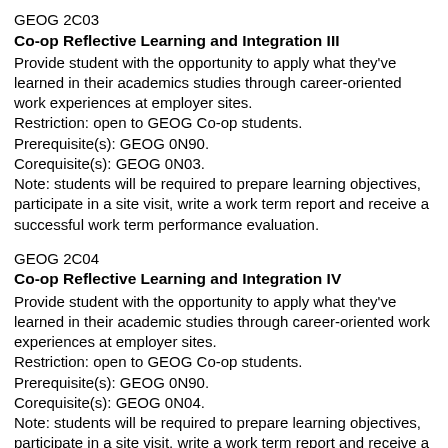GEOG 2C03
Co-op Reflective Learning and Integration III
Provide student with the opportunity to apply what they've learned in their academics studies through career-oriented work experiences at employer sites.
Restriction: open to GEOG Co-op students.
Prerequisite(s): GEOG 0N90.
Corequisite(s): GEOG 0N03.
Note: students will be required to prepare learning objectives, participate in a site visit, write a work term report and receive a successful work term performance evaluation.
GEOG 2C04
Co-op Reflective Learning and Integration IV
Provide student with the opportunity to apply what they've learned in their academic studies through career-oriented work experiences at employer sites.
Restriction: open to GEOG Co-op students.
Prerequisite(s): GEOG 0N90.
Corequisite(s): GEOG 0N04.
Note: students will be required to prepare learning objectives, participate in a site visit, write a work term report and receive a successful work term performance evaluation.
GEOG 2C05